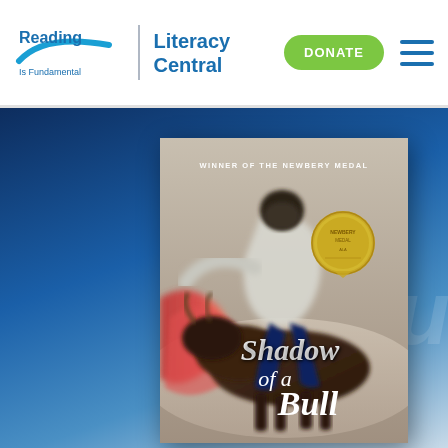[Figure (logo): Reading Is Fundamental logo with blue swoosh]
Literacy Central
DONATE
[Figure (illustration): Book cover of 'Shadow of a Bull' by Maia Wojciechowska, winner of the Newbery Medal. Shows a blurred action photo of a bullfighter with a bull, with a gold Newbery Medal seal in the upper right. The title 'Shadow of a Bull' is written in elegant white script at the bottom.]